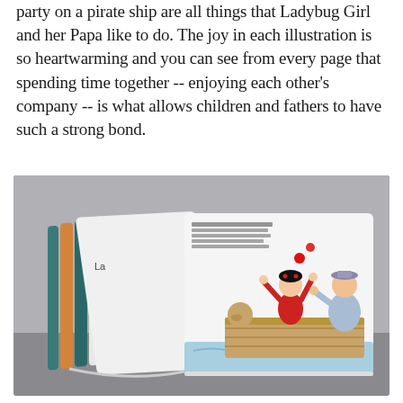party on a pirate ship are all things that Ladybug Girl and her Papa like to do. The joy in each illustration is so heartwarming and you can see from every page that spending time together -- enjoying each other's company -- is what allows children and fathers to have such a strong bond.
[Figure (photo): A children's board book open and fanned out showing illustrated pages. The visible open spread shows a girl in a red ladybug costume with arms raised and a man (Papa) holding something, both in a wooden boat on water. A dog is also visible in the boat. The book has thick board-book pages with rounded corners. Several page edges are visible showing orange and teal/blue colors.]